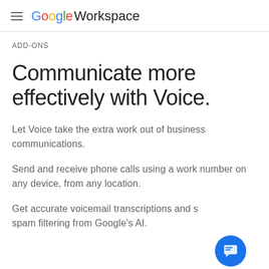Google Workspace
ADD-ONS
Communicate more effectively with Voice.
Let Voice take the extra work out of business communications.
Send and receive phone calls using a work number on any device, from any location.
Get accurate voicemail transcriptions and spam filtering from Google's AI.